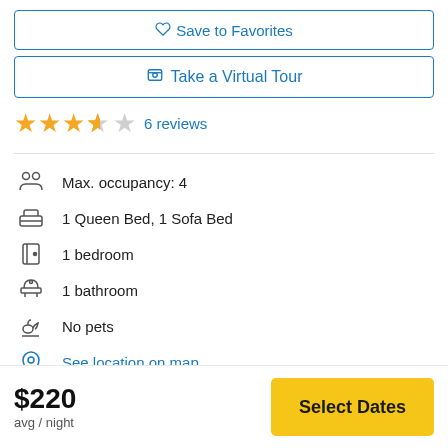♡ Save to Favorites
🎲 Take a Virtual Tour
★★★★½ 6 reviews
Max. occupancy: 4
1 Queen Bed, 1 Sofa Bed
1 bedroom
1 bathroom
No pets
See location on map
Address provided after booking
$220 avg / night
Select Dates